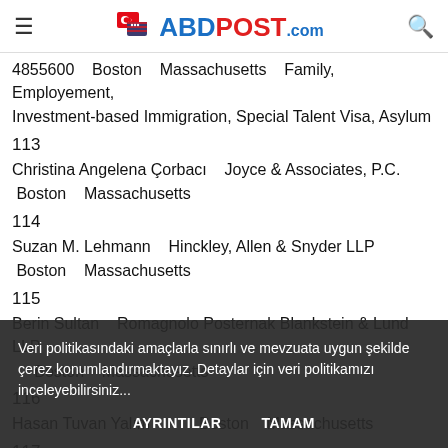ABDPost.com
4855600   Boston   Massachusetts   Family, Employement, Investment-based Immigration, Special Talent Visa, Asylum
113
Christina Angelena Çorbacı   Joyce & Associates, P.C.   Boston   Massachusetts
114
Suzan M. Lehmann   Hinckley, Allen & Snyder LLP   Boston   Massachusetts
115
Berin Sultan   Romagnolo Posternak Blankstein & Lund LLP   Boston   Massachusetts
116
Hasan Tuvan Yalım   Boston   Massachusetts
117
Veri politikasındaki amaçlarla sınırlı ve mevzuata uygun şekilde çerez konumlandırmaktayız. Detaylar için veri politikamızı inceleyebilirsiniz...
AYRINTILAR   TAMAM